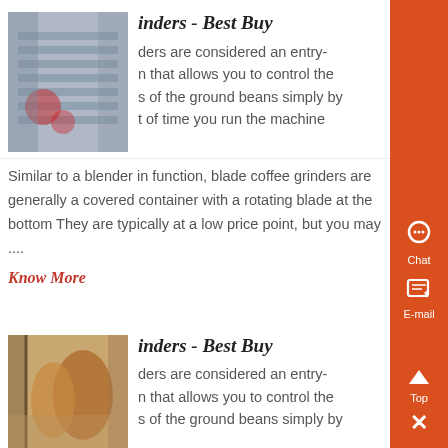inders - Best Buy
[Figure (photo): Industrial equipment, machinery from above, blue tones]
ders are considered an entry- n that allows you to control the s of the ground beans simply by t of time you run the machine
Similar to a blender in function, blade coffee grinders are generally a covered container with a rotating blade at the bottom They are typically at a low price point, but you may ....
Know More
inders - Best Buy
[Figure (photo): Industrial storage tanks or containers, brown/tan tones]
ders are considered an entry- n that allows you to control the s of the ground beans simply by